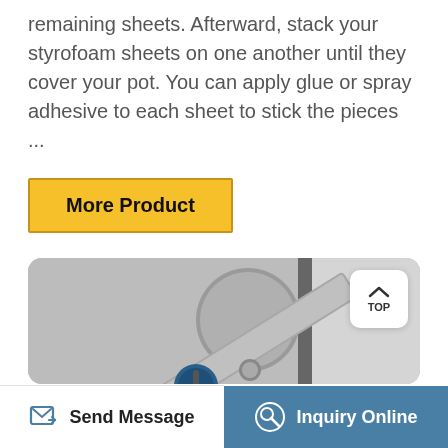remaining sheets. Afterward, stack your styrofoam sheets on one another until they cover your pot. You can apply glue or spray adhesive to each sheet to stick the pieces ...
More Product
[Figure (photo): Close-up photo of a silver door lock mechanism with a key inserted, showing a circular escutcheon plate and a key handle against a metallic door surface.]
Send Message
Inquiry Online